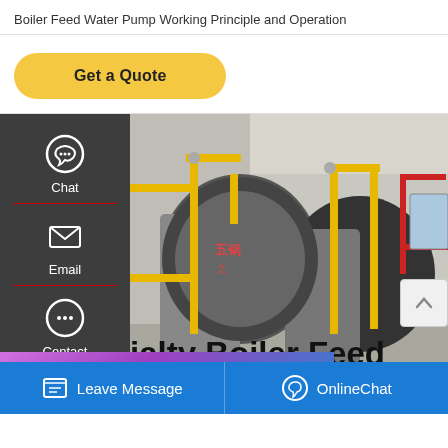Boiler Feed Water Pump Working Principle and Operation
Get a Quote
[Figure (photo): Industrial boiler room with large cylindrical boilers, yellow piping, and red pipe connections inside a facility]
ialty Boiler Feed
Leave Message  |  OnlineChat